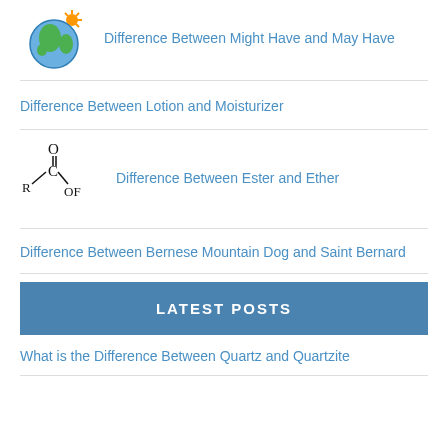Difference Between Might Have and May Have
Difference Between Lotion and Moisturizer
Difference Between Ester and Ether
Difference Between Bernese Mountain Dog and Saint Bernard
LATEST POSTS
What is the Difference Between Quartz and Quartzite